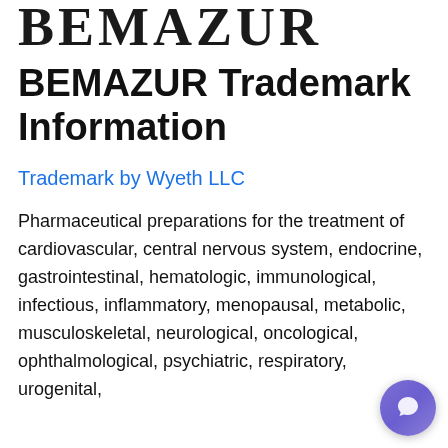BEMAZUR
BEMAZUR Trademark Information
Trademark by Wyeth LLC
Pharmaceutical preparations for the treatment of cardiovascular, central nervous system, endocrine, gastrointestinal, hematologic, immunological, infectious, inflammatory, menopausal, metabolic, musculoskeletal, neurological, oncological, ophthalmological, psychiatric, respiratory, urogenital,